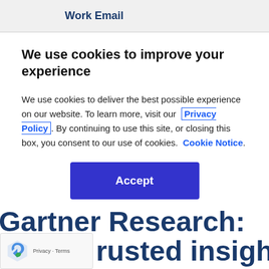Work Email
We use cookies to improve your experience
We use cookies to deliver the best possible experience on our website. To learn more, visit our  Privacy Policy. By continuing to use this site, or closing this box, you consent to our use of cookies.  Cookie Notice.
Accept
Gartner Research: rusted insight for executives and their